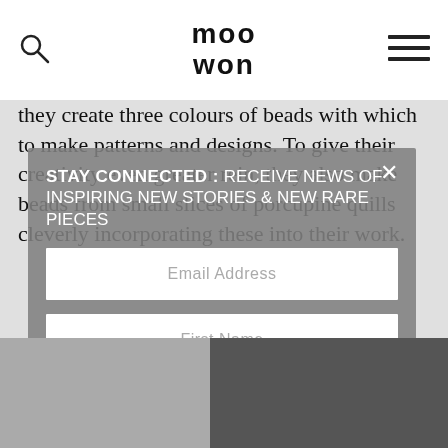moo won
they create three colours of beads with which to make patterns and designs. To give their creativity even greater rein, they also make beads from small slices of porcupine quills cleverly incorporating these into their work.
STAY CONNECTED : RECEIVE NEWS OF INSPIRING NEW STORIES & NEW RARE PIECES
Email Address
First Name
Last Name
SIGN UP